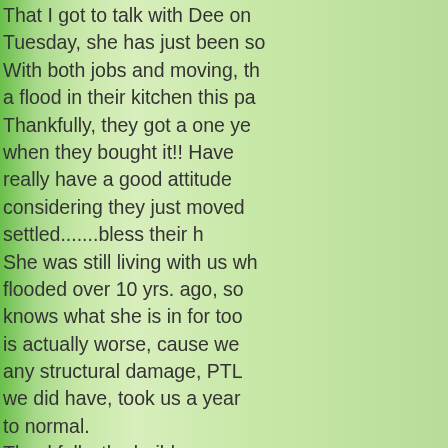That I got to talk with Dee on Tuesday, she has just been so busy. With both jobs and moving, they had a flood in their kitchen this past week. Thankfully, they got a one year warranty when they bought it!! Have really have a good attitude considering they just moved in and not even settled.......bless their hearts! She was still living with us when we flooded over 10 yrs. ago, so she knows what she is in for too. Ours is actually worse, cause we didn't have any structural damage, PTL, but what we did have, took us a year to get back to normal. Thankfully, the builders men have been there working on things since then and their kitchen is gutted and they are waiting for some things to come in. The Bright side is they get to